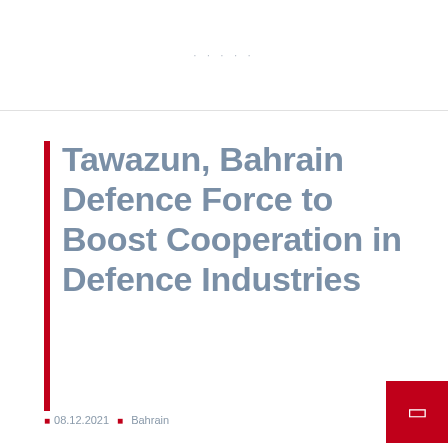· · · · ·
Tawazun, Bahrain Defence Force to Boost Cooperation in Defence Industries
08.12.2021  Bahrain